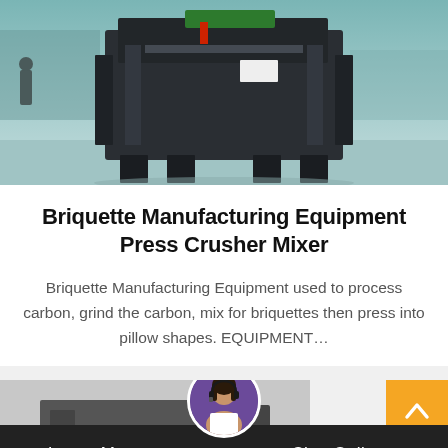[Figure (photo): Large industrial briquette crusher mixer machine (dark gray/black heavy equipment) photographed outdoors in an industrial yard with a teal-colored concrete floor and trucks visible in background.]
Briquette Manufacturing Equipment Press Crusher Mixer
Briquette Manufacturing Equipment used to process carbon, grind the carbon, mix for briquettes then press into pillow shapes. EQUIPMENT…
[Figure (photo): Partial view of another product card with industrial machinery, partially visible at bottom of page.]
Leave Message
Chat Online